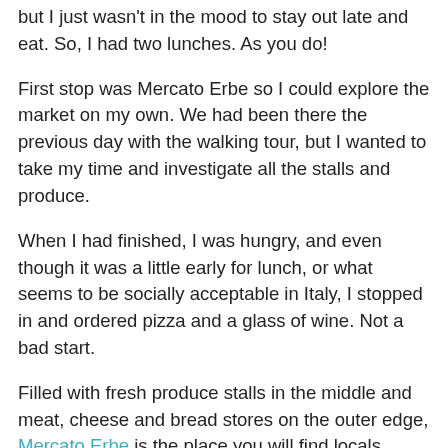but I just wasn't in the mood to stay out late and eat. So, I had two lunches. As you do!
First stop was Mercato Erbe so I could explore the market on my own. We had been there the previous day with the walking tour, but I wanted to take my time and investigate all the stalls and produce.
When I had finished, I was hungry, and even though it was a little early for lunch, or what seems to be socially acceptable in Italy, I stopped in and ordered pizza and a glass of wine. Not a bad start.
Filled with fresh produce stalls in the middle and meat, cheese and bread stores on the outer edge, Mercato Erbe is the place you will find locals doing their shopping.
You can also find Altro, a space incorporating restaurants, food and wine and a place to sit and enjoy a delicious lunch or join the locals for an evening